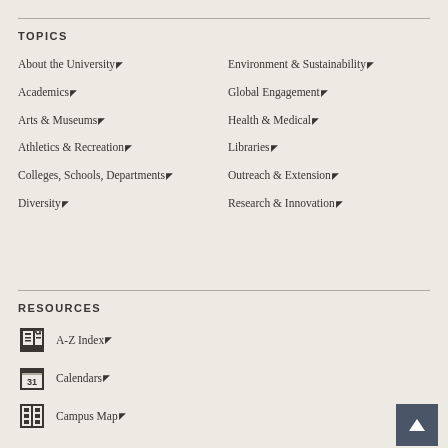TOPICS
About the University
Academics
Arts & Museums
Athletics & Recreation
Colleges, Schools, Departments
Diversity
Environment & Sustainability
Global Engagement
Health & Medical
Libraries
Outreach & Extension
Research & Innovation
RESOURCES
A-Z Index
Calendars
Campus Map